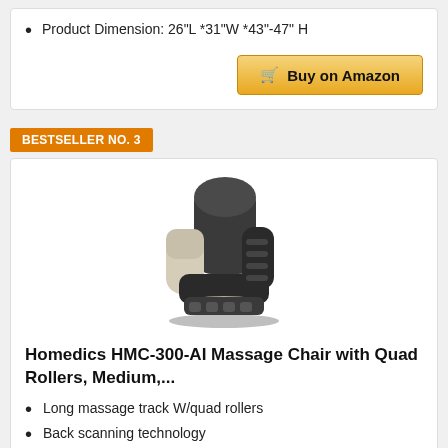Product Dimension: 26"L *31"W *43"-47" H
Buy on Amazon
BESTSELLER NO. 3
[Figure (photo): Homedics HMC-300-AI massage chair, cream and dark brown leather recliner with quad rollers]
Homedics HMC-300-AI Massage Chair with Quad Rollers, Medium,...
Long massage track W/quad rollers
Back scanning technology
5 auto massage programs & 3 massage techniques
Calf compression & flip footrest